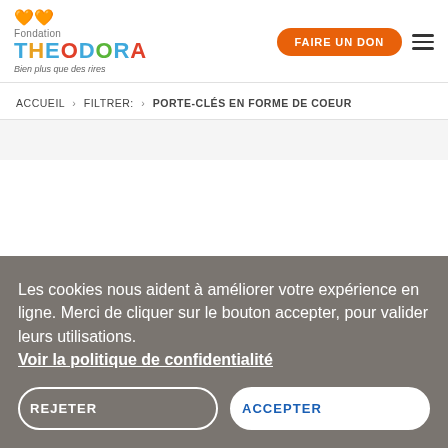[Figure (logo): Fondation Theodora logo with colorful letters and heart icons. Tagline: Bien plus que des rires]
FAIRE UN DON
ACCUEIL › FILTRER: › PORTE-CLÉS EN FORME DE COEUR
Les cookies nous aident à améliorer votre expérience en ligne. Merci de cliquer sur le bouton accepter, pour valider leurs utilisations. Voir la politique de confidentialité
REJETER
ACCEPTER